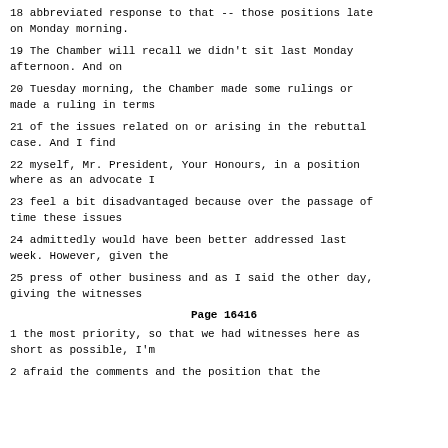18 abbreviated response to that -- those positions late on Monday morning.
19 The Chamber will recall we didn't sit last Monday afternoon. And on
20 Tuesday morning, the Chamber made some rulings or made a ruling in terms
21 of the issues related on or arising in the rebuttal case. And I find
22 myself, Mr. President, Your Honours, in a position where as an advocate I
23 feel a bit disadvantaged because over the passage of time these issues
24 admittedly would have been better addressed last week. However, given the
25 press of other business and as I said the other day, giving the witnesses
Page 16416
1 the most priority, so that we had witnesses here as short as possible, I'm
2 afraid the comments and the position that the